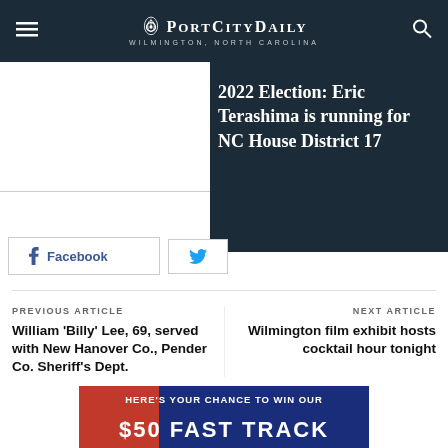PORT CITY DAILY — WILMINGTON, NORTH CAROLINA
2022 Election: Eric Terashima is running for NC House District 17
Facebook
Twitter
PREVIOUS ARTICLE
William 'Billy' Lee, 69, served with New Hanover Co., Pender Co. Sheriff's Dept.
NEXT ARTICLE
Wilmington film exhibit hosts cocktail hour tonight
[Figure (infographic): Advertisement banner: HERE'S YOUR CHANCE TO WIN OUR $50 FAST TRACK]